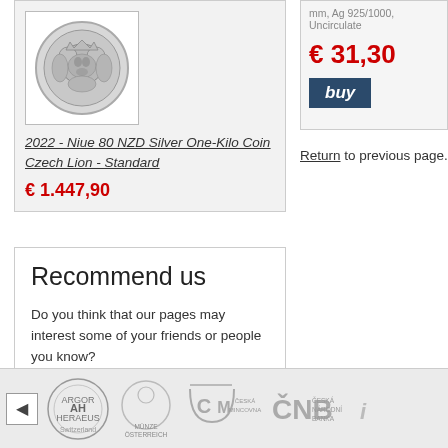[Figure (photo): Silver coin with lion engraving, circular shape on white background]
2022 - Niue 80 NZD Silver One-Kilo Coin Czech Lion - Standard
€ 1.447,90
mm, Ag 925/1000, Uncirculated
€ 31,30
buy
Return to previous page.
Recommend us
Do you think that our pages may interest some of your friends or people you know?
-> Recommend us!
[Figure (logo): Footer logos bar: Argor-Heraeus Switzerland, Münze Österreich, Česká Mincovna, ČNB Česká Národní Banka, and partial logo]